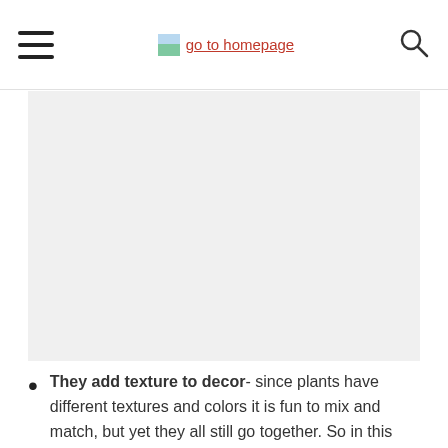go to homepage
[Figure (photo): Large image placeholder area (gray background), likely a decorative photo of a centerpiece or plants]
They add texture to decor- since plants have different textures and colors it is fun to mix and match, but yet they all still go together. So in this centerpiece I used